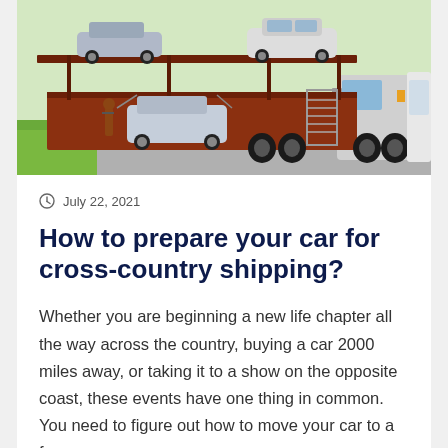[Figure (photo): A car carrier truck transporting multiple vehicles on a multi-level auto transport trailer, photographed on a road with green grass visible on the left side.]
July 22, 2021
How to prepare your car for cross-country shipping?
Whether you are beginning a new life chapter all the way across the country, buying a car 2000 miles away, or taking it to a show on the opposite coast, these events have one thing in common. You need to figure out how to move your car to a far-